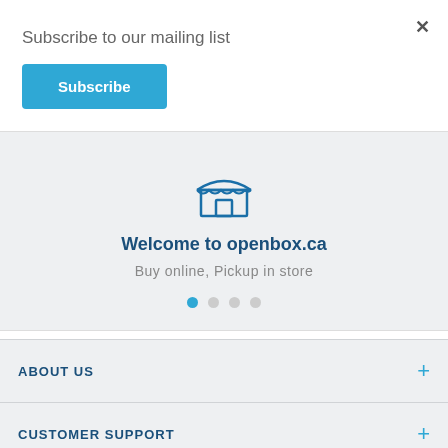Subscribe to our mailing list
×
Subscribe
[Figure (illustration): Store/shop icon — outline drawing of a storefront with awning and door]
Welcome to openbox.ca
Buy online, Pickup in store
ABOUT US
CUSTOMER SUPPORT